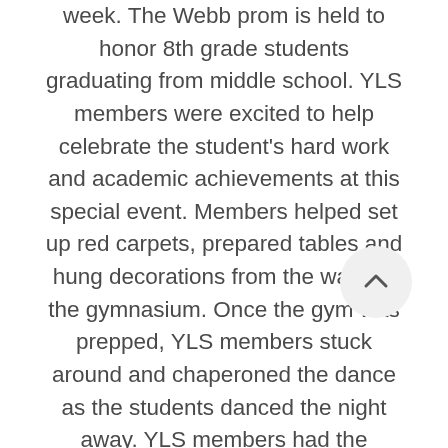week. The Webb prom is held to honor 8th grade students graduating from middle school. YLS members were excited to help celebrate the student's hard work and academic achievements at this special event. Members helped set up red carpets, prepared tables and hung decorations from the walls of the gymnasium. Once the gym was prepped, YLS members stuck around and chaperoned the dance as the students danced the night away. YLS members had the opportunity to interact with Webb faculty and staff and some of the students they had volunteered with through the year. We asked two YLS members about their experiences volunteering at the Webb prom.   How long have you been involved with the Young Leaders